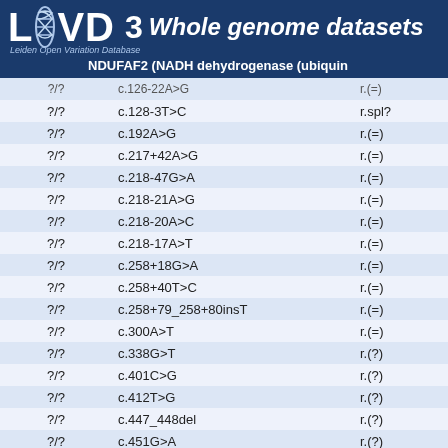LOVD 3 Whole genome datasets — NDUFAF2 (NADH dehydrogenase (ubiquinone) complex I, assembly factor 2)
| ?/? | DNA change | RNA |
| --- | --- | --- |
| ?/? | c.126-22A>G | r.(=) |
| ?/? | c.128-3T>C | r.spl? |
| ?/? | c.192A>G | r.(=) |
| ?/? | c.217+42A>G | r.(=) |
| ?/? | c.218-47G>A | r.(=) |
| ?/? | c.218-21A>G | r.(=) |
| ?/? | c.218-20A>C | r.(=) |
| ?/? | c.218-17A>T | r.(=) |
| ?/? | c.258+18G>A | r.(=) |
| ?/? | c.258+40T>C | r.(=) |
| ?/? | c.258+79_258+80insT | r.(=) |
| ?/? | c.300A>T | r.(=) |
| ?/? | c.338G>T | r.(?) |
| ?/? | c.401C>G | r.(?) |
| ?/? | c.412T>G | r.(?) |
| ?/? | c.447_448del | r.(?) |
| ?/? | c.451G>A | r.(?) |
| ?/? | c.459C>T | r.(=) |
| ?/? | c.462T>C | r.(=) |
| ?/? | c.485G>A | r.(?) |
| ?/? | c.490del | r.(?) |
| ?/? | c.502A>T | r.(?) |
| ?/? | c.505C>G | r.(?) |
100 per page
Legend